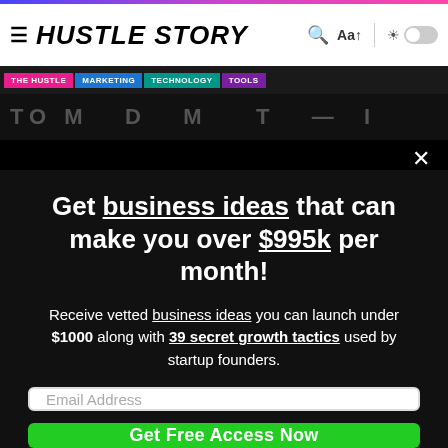HUSTLE STORY
Get business ideas that can make you over $995k per month!
Receive vetted business ideas you can launch under $1000 along with 39 secret growth tactics used by startup founders.
Email Address
Get Free Access Now